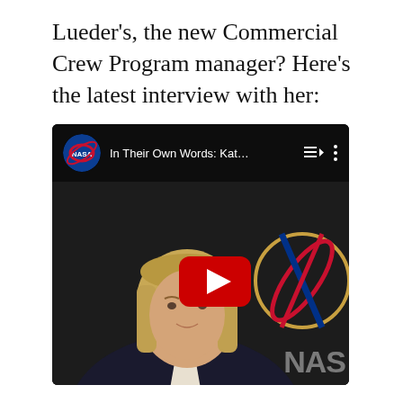Lueder's, the new Commercial Crew Program manager? Here's the latest interview with her:
[Figure (screenshot): Embedded YouTube video thumbnail showing a NASA 'In Their Own Words: Kat...' video. A woman with a blonde bob haircut wearing a dark blazer is shown in front of a dark NASA-branded background. A red YouTube play button is overlaid in the center. The video player toolbar at top shows the NASA logo, video title 'In Their Own Words: Kat...', a playlist icon, and a vertical ellipsis menu. Partial 'NAS' text from the NASA logo is visible in the lower right of the thumbnail.]